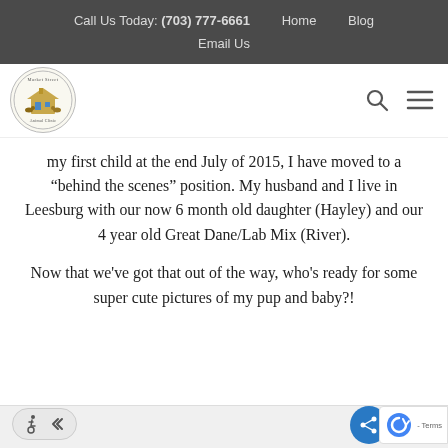Call Us Today: (703) 777-6661    Home    Blog    Email Us
[Figure (logo): Market Street Animal Clinic circular logo with illustration of a house/building and animals]
my first child at the end July of 2015, I have moved to a “behind the scenes” position. My husband and I live in Leesburg with our now 6 month old daughter (Hayley) and our 4 year old Great Dane/Lab Mix (River).
Now that we've got that out of the way, who's ready for some super cute pictures of my pup and baby?!